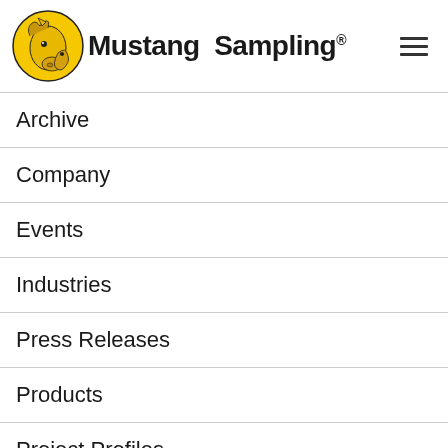[Figure (logo): Mustang Sampling logo with horse illustration in yellow circle and bold text 'Mustang Sampling®']
Archive
Company
Events
Industries
Press Releases
Products
Project Profiles
Racing
Videos